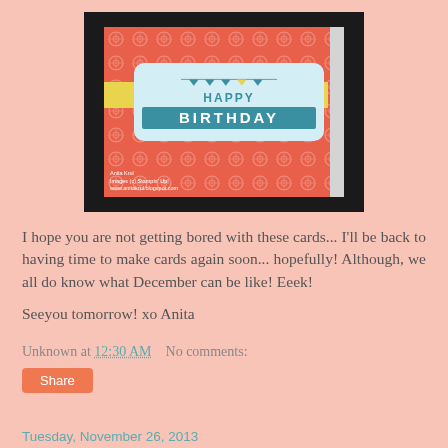[Figure (photo): A handmade birthday card with a coral/salmon patterned background, a light blue center label with 'HAPPY BIRTHDAY' in teal text, yellow banner accents on sides. Card is photographed on a dark background with a watermark reading 'Anita Krul, Images (c) Stampin Up!, www.anitakrul.blogspot.com']
I hope you are not getting bored with these cards... I'll be back to having time to make cards again soon... hopefully!  Although, we all do know what December can be like!  Eeek!
Seeyou tomorrow!  xo Anita
Unknown at 12:30 AM    No comments:
Share
Tuesday, November 26, 2013